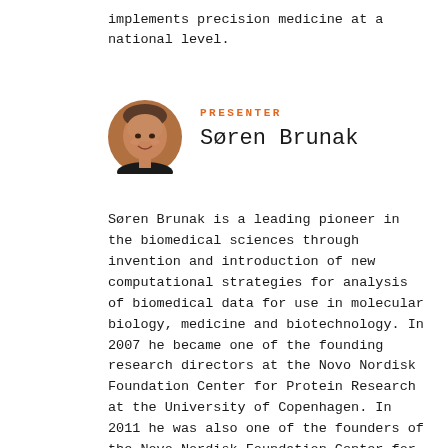implements precision medicine at a national level.
PRESENTER
[Figure (photo): Circular portrait photo of Søren Brunak, a man with gray hair wearing dark clothing]
Søren Brunak
Søren Brunak is a leading pioneer in the biomedical sciences through invention and introduction of new computational strategies for analysis of biomedical data for use in molecular biology, medicine and biotechnology. In 2007 he became one of the founding research directors at the Novo Nordisk Foundation Center for Protein Research at the University of Copenhagen. In 2011 he was also one of the founders of the Novo Nordisk Foundation Center for Biosustainability at DTU, where he led the Section for Metagenomic Systems Biology until 2013. He continues to be affiliated professor at DTU as well as at